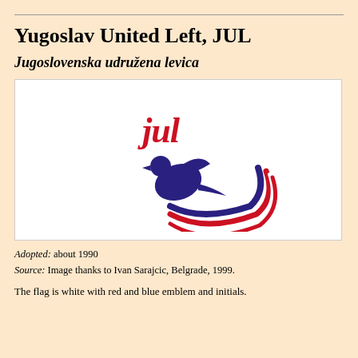Yugoslav United Left, JUL
Jugoslovenska udružena levica
[Figure (logo): JUL party logo: a stylized dove in dark blue/purple with red and blue swooping lines and the italic cursive text 'jul' in red above the dove, on a white background.]
Adopted: about 1990
Source: Image thanks to Ivan Sarajcic, Belgrade, 1999.
The flag is white with red and blue emblem and initials.